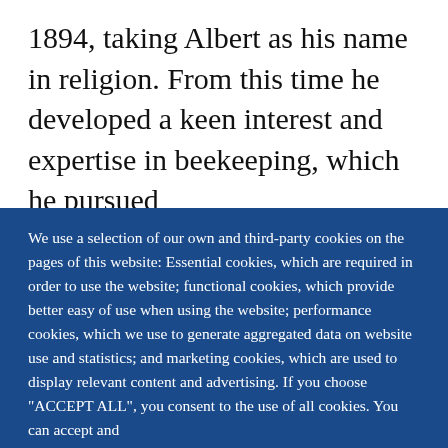1894, taking Albert as his name in religion. From this time he developed a keen interest and expertise in beekeeping, which he pursued
We use a selection of our own and third-party cookies on the pages of this website: Essential cookies, which are required in order to use the website; functional cookies, which provide better easy of use when using the website; performance cookies, which we use to generate aggregated data on website use and statistics; and marketing cookies, which are used to display relevant content and advertising. If you choose "ACCEPT ALL", you consent to the use of all cookies. You can accept and
ACCEPT ALL